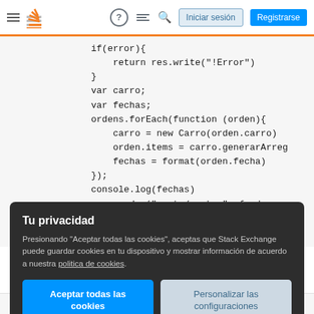Stack Exchange navigation bar with hamburger menu, logo, help, chat, search icons, Iniciar sesión and Registrarse buttons
[Figure (screenshot): Code snippet showing JavaScript with if(error), return res.write, var declarations, ordens.forEach loop with Carro instantiation and format call, console.log and res.render calls]
Tu privacidad
Presionando "Aceptar todas las cookies", aceptas que Stack Exchange puede guardar cookies en tu dispositivo y mostrar información de acuerdo a nuestra politica de cookies.
Aceptar todas las cookies
Personalizar las configuraciones
El console me muestra que efectivamente se